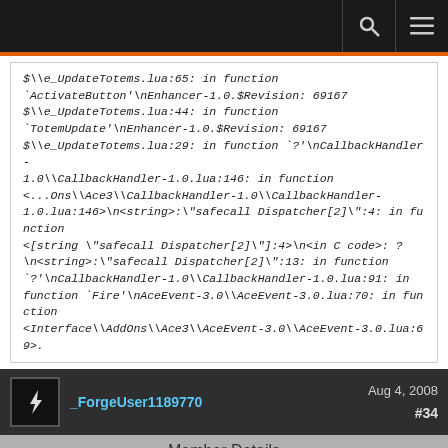Navigation bar with search and menu icons
$\e_UpdateTotems.lua:65: in function `ActivateButton'\nEnhancer-1.0.$Revision: 69167 $\\e_UpdateTotems.lua:44: in function `TotemUpdate'\nEnhancer-1.0.$Revision: 69167 $\\e_UpdateTotems.lua:29: in function `?'\nCallbackHandler-1.0\\CallbackHandler-1.0.lua:146: in function <...Ons\\Ace3\\CallbackHandler-1.0\\CallbackHandler-1.0.lua:146>\n<string>:\"safecall Dispatcher[2]\":4: in function <[string \"safecall Dispatcher[2]\"]4>\n<in C code>: ?\n<string>:\"safecall Dispatcher[2]\":13: in function `?'\nCallbackHandler-1.0\\CallbackHandler-1.0.lua:91: in function `Fire'\nAceEvent-3.0\\AceEvent-3.0.lua:70: in function <Interface\\AddOns\\Ace3\\AceEvent-3.0\\AceEvent-3.0.lua:69>.
_ForgeUser1189770   Aug 4, 2008   #34
Member Details
AceTimer-3.0: Warning: The addon/module